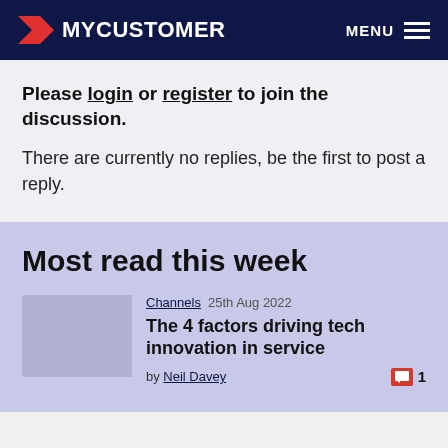MYCUSTOMER  MENU
Please login or register to join the discussion.
There are currently no replies, be the first to post a reply.
Most read this week
Channels  25th Aug 2022
The 4 factors driving tech innovation in service
by Neil Davey  1